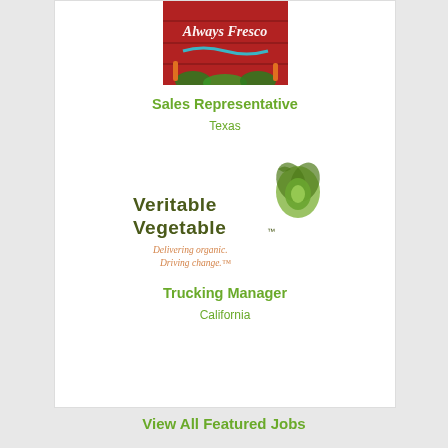[Figure (logo): Always Fresco logo – red barn/vegetable themed with white italic text]
Sales Representative
Texas
[Figure (logo): Veritable Vegetable logo – dark olive text with illustrated cabbage, tagline: Delivering organic. Driving change.]
Trucking Manager
California
View All Featured Jobs